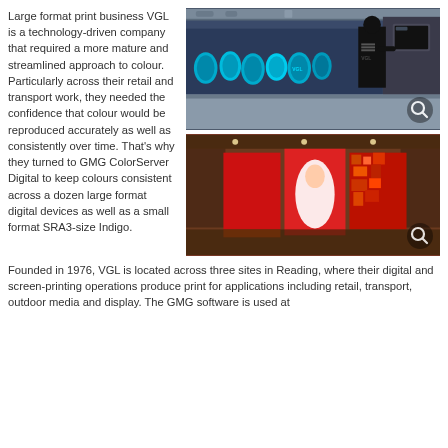Large format print business VGL is a technology-driven company that required a more mature and streamlined approach to colour. Particularly across their retail and transport work, they needed the confidence that colour would be reproduced accurately as well as consistently over time. That's why they turned to GMG ColorServer Digital to keep colours consistent across a dozen large format digital devices as well as a small format SRA3-size Indigo.
[Figure (photo): Industrial large format printer with blue ink rolls, a worker in a black VGL shirt operating the machine]
[Figure (photo): Retail store display with large format printed panels showing red sports/action imagery]
Founded in 1976, VGL is located across three sites in Reading, where their digital and screen-printing operations produce print for applications including retail, transport, outdoor media and display. The GMG software is used at